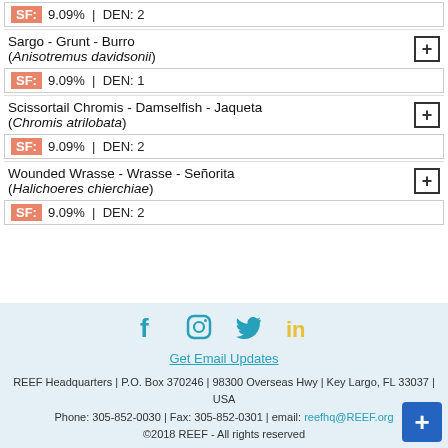SF: 9.09% | DEN: 2
Sargo - Grunt - Burro (Anisotremus davidsonii)
SF: 9.09% | DEN: 1
Scissortail Chromis - Damselfish - Jaqueta (Chromis atrilobata)
SF: 9.09% | DEN: 2
Wounded Wrasse - Wrasse - Señorita (Halichoeres chierchiae)
SF: 9.09% | DEN: 2
Get Email Updates
REEF Headquarters | P.O. Box 370246 | 98300 Overseas Hwy | Key Largo, FL 33037 | USA
Phone: 305-852-0030 | Fax: 305-852-0301 | email: reefhq@REEF.org
©2018 REEF - All rights reserved